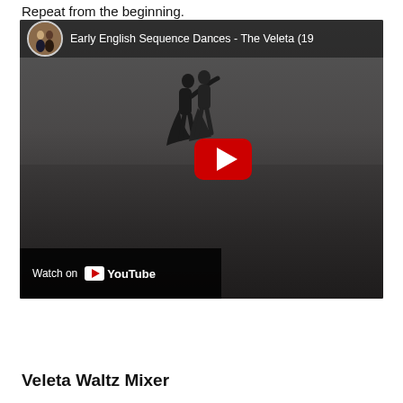Repeat from the beginning.
[Figure (screenshot): YouTube video thumbnail showing 'Early English Sequence Dances - The Veleta (19...' with two dancers silhouetted in a dance studio, a red YouTube play button in the center, and a 'Watch on YouTube' bar at the bottom left.]
Veleta Waltz Mixer